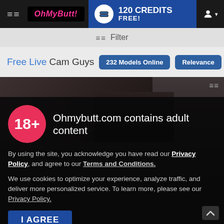OhMyButt! — 120 CREDITS FREE!
Filter
Free Live Cam Guys  232 Models Online  Relevance
[Figure (screenshot): Dark background showing a cam model thumbnail]
Ohmybutt.com contains adult content
By using the site, you acknowledge you have read our Privacy Policy, and agree to our Terms and Conditions.
We use cookies to optimize your experience, analyze traffic, and deliver more personalized service. To learn more, please see our Privacy Policy.
I AGREE